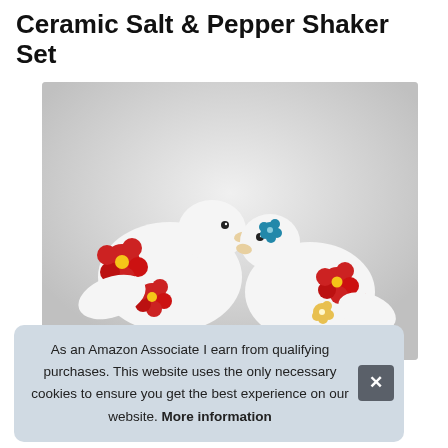Ceramic Salt & Pepper Shaker Set
[Figure (photo): Two white ceramic bird-shaped salt and pepper shakers decorated with red floral patterns. The birds face each other against a light gray background.]
As an Amazon Associate I earn from qualifying purchases. This website uses the only necessary cookies to ensure you get the best experience on our website. More information